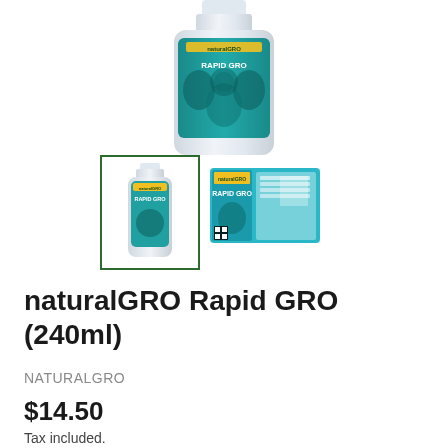[Figure (photo): Main product photo of naturalGRO Rapid GRO 240ml bottle with teal/green label, shown from above cropped at top]
[Figure (photo): Thumbnail of naturalGRO Rapid GRO bottle, selected with green border]
[Figure (photo): Thumbnail of naturalGRO Rapid GRO product label flat layout in teal/blue]
naturalGRO Rapid GRO (240ml)
NATURALGRO
$14.50
Tax included.